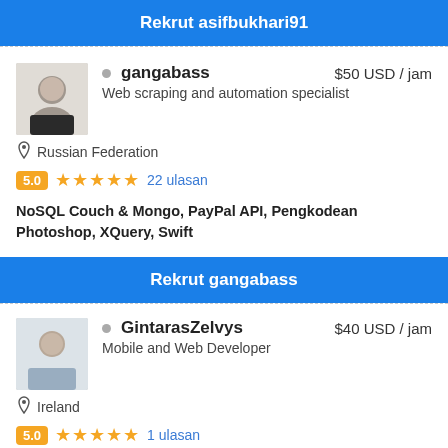[Figure (other): Blue recruitment button for asifbukhari91 (partially visible, cropped at top)]
[Figure (photo): Profile photo of gangabass, a man in a black shirt]
gangabass   $50 USD / jam
Web scraping and automation specialist
Russian Federation
5.0 ★★★★★ 22 ulasan
NoSQL Couch & Mongo, PayPal API, Pengkodean Photoshop, XQuery, Swift
[Figure (other): Blue recruitment button: Rekrut gangabass]
[Figure (photo): Profile photo of GintarasZelvys, a man in a light blue shirt]
GintarasZelvys   $40 USD / jam
Mobile and Web Developer
Ireland
5.0 ★★★★★ 1 ulasan
.NET, Adobe XR, AJAX, Amazon Web Services